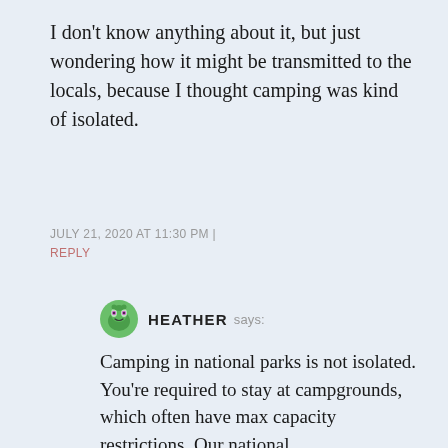I don't know anything about it, but just wondering how it might be transmitted to the locals, because I thought camping was kind of isolated.
JULY 21, 2020 AT 11:30 PM | REPLY
HEATHER says:
Camping in national parks is not isolated. You're required to stay at campgrounds, which often have max capacity restrictions. Our national